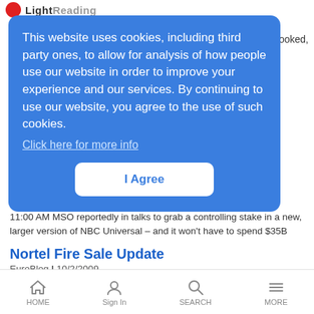Light Reading
This website uses cookies, including third party ones, to allow for analysis of how people use our website in order to improve your experience and our services. By continuing to use our website, you agree to the use of such cookies. Click here for more info
I Agree
11:00 AM MSO reportedly in talks to grab a controlling stake in a new, larger version of NBC Universal – and it won't have to spend $35B
Nortel Fire Sale Update
EuroBlog | 10/2/2009
10:35 AM Tax crunch, GSM sale, and packet core clearance
HOME   Sign In   SEARCH   MORE